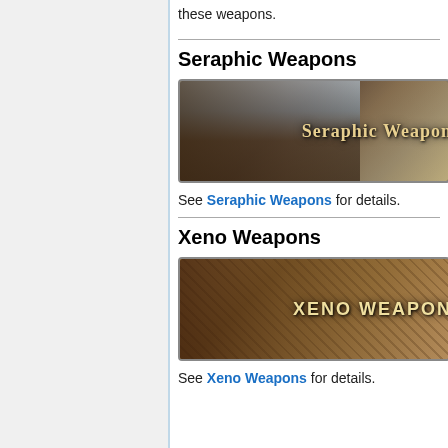these weapons.
Seraphic Weapons
[Figure (illustration): Banner image for Seraphic Weapons showing fantasy characters with text 'Seraphic Weapon']
See Seraphic Weapons for details.
Xeno Weapons
[Figure (illustration): Banner image for Xeno Weapons showing a map/parchment background with text 'XENO WEAPON']
See Xeno Weapons for details.